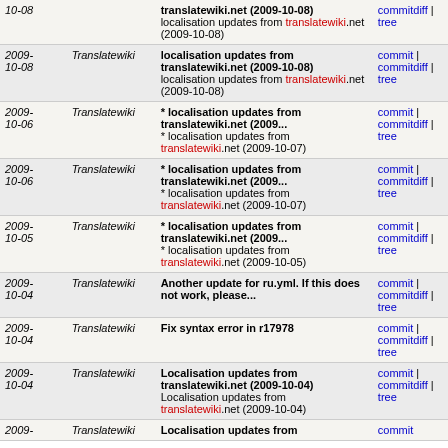| Date | Author | Message | Links |
| --- | --- | --- | --- |
| 2009-10-08 | Translatewiki | localisation updates from translatewiki.net (2009-10-08)
localisation updates from translatewiki.net (2009-10-08) | commit | commitdiff | tree |
| 2009-10-08 | Translatewiki | localisation updates from translatewiki.net (2009-10-08)
localisation updates from translatewiki.net (2009-10-08) | commit | commitdiff | tree |
| 2009-10-06 | Translatewiki | * localisation updates from translatewiki.net (2009...
* localisation updates from translatewiki.net (2009-10-07) | commit | commitdiff | tree |
| 2009-10-06 | Translatewiki | * localisation updates from translatewiki.net (2009...
* localisation updates from translatewiki.net (2009-10-07) | commit | commitdiff | tree |
| 2009-10-05 | Translatewiki | * localisation updates from translatewiki.net (2009...
* localisation updates from translatewiki.net (2009-10-05) | commit | commitdiff | tree |
| 2009-10-04 | Translatewiki | Another update for ru.yml. If this does not work, please... | commit | commitdiff | tree |
| 2009-10-04 | Translatewiki | Fix syntax error in r17978 | commit | commitdiff | tree |
| 2009-10-04 | Translatewiki | Localisation updates from translatewiki.net (2009-10-04)
Localisation updates from translatewiki.net (2009-10-04) | commit | commitdiff | tree |
| 2009- | Translatewiki | Localisation updates from | commit |